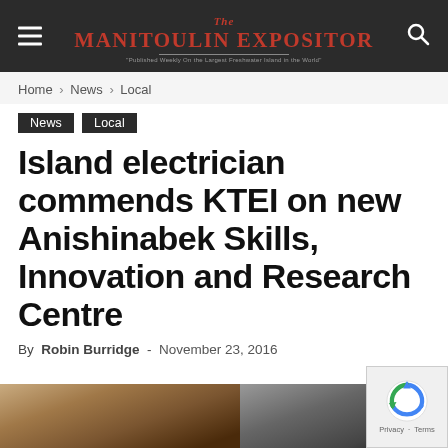The Manitoulin Expositor
Home › News › Local
News
Local
Island electrician commends KTEI on new Anishinabek Skills, Innovation and Research Centre
By Robin Burridge - November 23, 2016
[Figure (photo): Partial view of a photo showing an indoor scene, partially visible at the bottom of the page]